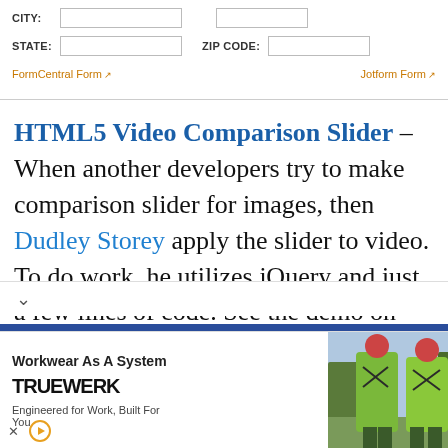[Figure (other): Top portion of a web form with CITY, STATE, and ZIP CODE input fields, with links to FormCentral Form and Jotform Form]
HTML5 Video Comparison Slider – When another developers try to make comparison slider for images, then Dudley Storey apply the slider to video. To do work, he utilizes jQuery and just a few lines of code. See the demo on Codepen to see the action.
[Figure (other): Advertisement for TRUEWERK workwear brand showing two people in green high-visibility jackets with text 'Workwear As A System, Engineered for Work, Built For You']